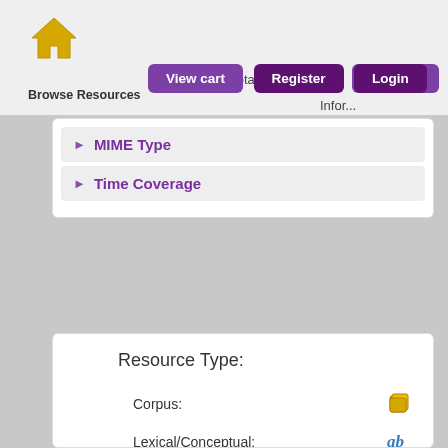Browse Resources  Cart total  View cart  Register  Login  Infor...
MIME Type
Time Coverage
Resource Type:
Corpus:
Lexical/Conceptual:
Tool/Service:
Language Description:
Media Type:
Text: